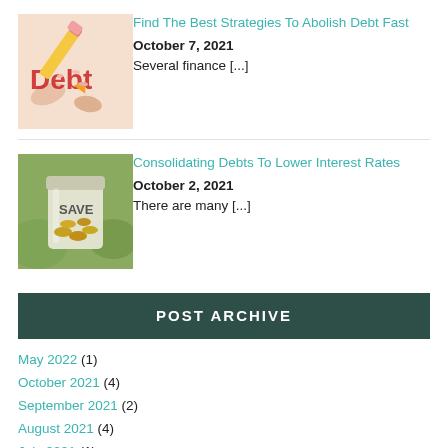[Figure (photo): Image of a pencil erasing the word 'Debt' on paper]
Find The Best Strategies To Abolish Debt Fast
October 7, 2021
Several finance [...]
[Figure (photo): Image of a glass jar labeled 'SAVE' filled with coins]
Consolidating Debts To Lower Interest Rates
October 2, 2021
There are many [...]
POST ARCHIVE
May 2022 (1)
October 2021 (4)
September 2021 (2)
August 2021 (4)
July 2021 (1)
June 2021 (1)